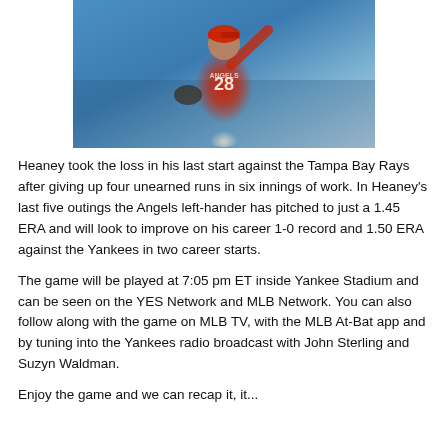[Figure (photo): Baseball pitcher in red Angels uniform number 28 in throwing motion on a baseball field]
Heaney took the loss in his last start against the Tampa Bay Rays after giving up four unearned runs in six innings of work. In Heaney's last five outings the Angels left-hander has pitched to just a 1.45 ERA and will look to improve on his career 1-0 record and 1.50 ERA against the Yankees in two career starts.
The game will be played at 7:05 pm ET inside Yankee Stadium and can be seen on the YES Network and MLB Network. You can also follow along with the game on MLB TV, with the MLB At-Bat app and by tuning into the Yankees radio broadcast with John Sterling and Suzyn Waldman.
Enjoy the game and we can recap it, it...